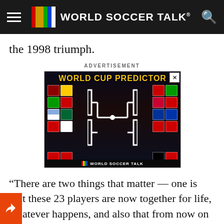World Soccer Talk
the 1998 triumph.
ADVERTISEMENT
[Figure (screenshot): World Cup Predictor advertisement banner from World Soccer Talk, showing a bracket-style tournament graphic with country flags arranged in a bracket format against a dark stadium background]
“There are two things that matter — one is that these 23 players are now together for life, whatever happens, and also that from now on they will not be